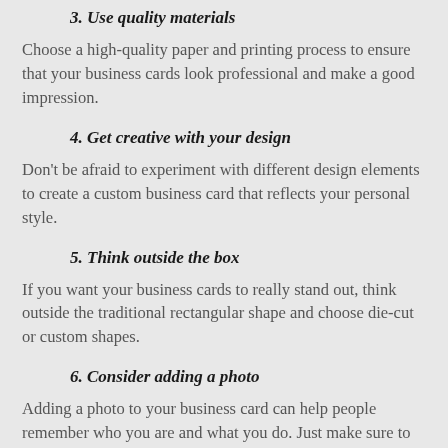3. Use quality materials
Choose a high-quality paper and printing process to ensure that your business cards look professional and make a good impression.
4. Get creative with your design
Don't be afraid to experiment with different design elements to create a custom business card that reflects your personal style.
5. Think outside the box
If you want your business cards to really stand out, think outside the traditional rectangular shape and choose die-cut or custom shapes.
6. Consider adding a photo
Adding a photo to your business card can help people remember who you are and what you do. Just make sure to use a high-quality headshot that is appropriate for your business.